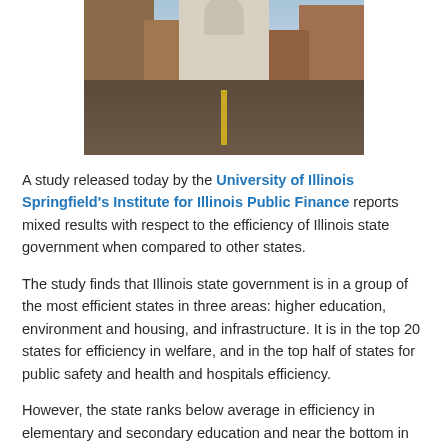[Figure (photo): Street view looking down a wide road toward the Illinois State Capitol building, with buildings on either side and greenery.]
A study released today by the University of Illinois Springfield's Institute for Illinois Public Finance reports mixed results with respect to the efficiency of Illinois state government when compared to other states.
The study finds that Illinois state government is in a group of the most efficient states in three areas: higher education, environment and housing, and infrastructure. It is in the top 20 states for efficiency in welfare, and in the top half of states for public safety and health and hospitals efficiency.
However, the state ranks below average in efficiency in elementary and secondary education and near the bottom in transportation.
“The study is unique in that the measures of efficiency that are produced lead directly to recommendations for improving